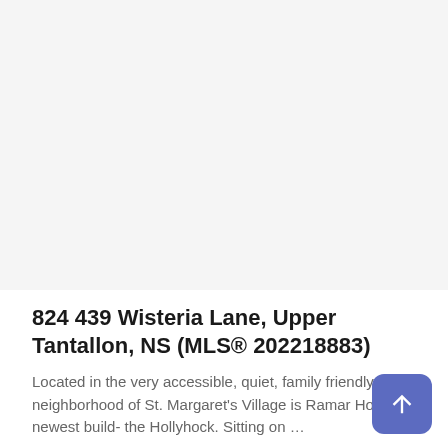[Figure (photo): Large white/blank image area at top of page, likely a property photo placeholder]
824 439 Wisteria Lane, Upper Tantallon, NS (MLS® 202218883)
Located in the very accessible, quiet, family friendly neighborhood of St. Margaret's Village is Ramar Homes newest build- the Hollyhock. Sitting on …
Residential